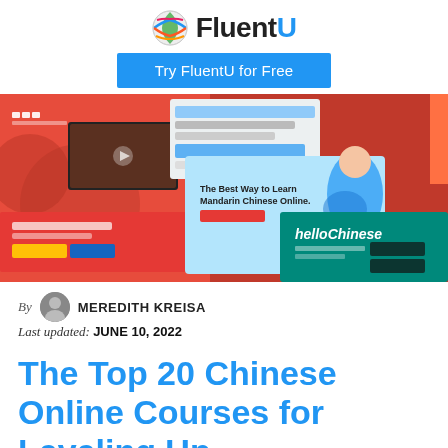[Figure (logo): FluentU logo with globe icon and text]
Try FluentU for Free
[Figure (screenshot): Collage of Chinese language learning website screenshots including HelloChinese and other platforms on red and teal backgrounds]
By MEREDITH KREISA
Last updated: JUNE 10, 2022
The Top 20 Chinese Online Courses for Leveling Up